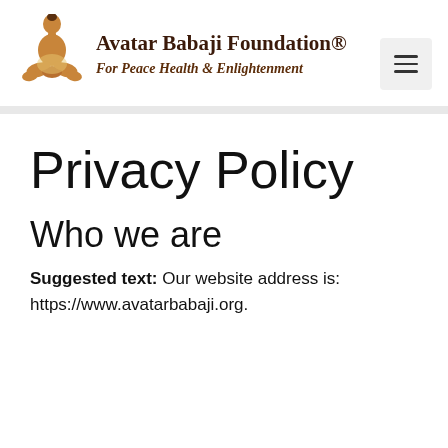Avatar Babaji Foundation® For Peace Health & Enlightenment
Privacy Policy
Who we are
Suggested text: Our website address is: https://www.avatarbabaji.org.